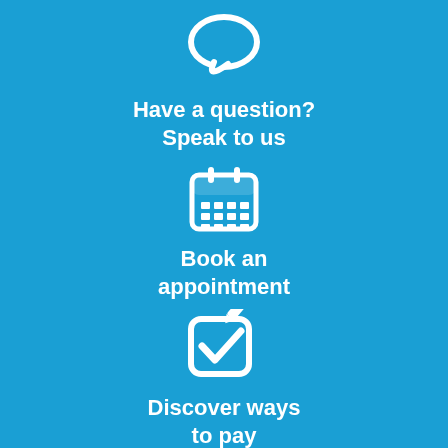[Figure (illustration): White speech bubble / chat icon on blue background]
Have a question? Speak to us
[Figure (illustration): White calendar icon on blue background]
Book an appointment
[Figure (illustration): White checkbox / checkmark icon on blue background]
Discover ways to pay